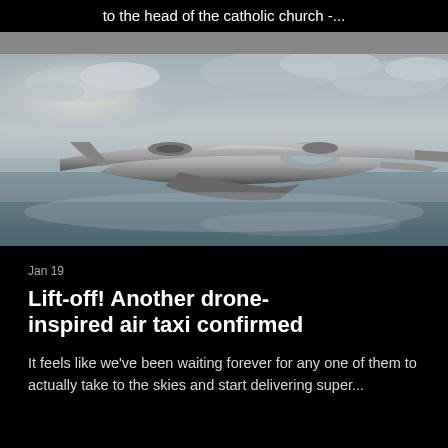to the head of the catholic church -...
[Figure (photo): A futuristic silver drone-inspired air taxi aircraft on a foggy tarmac with cloudy sky background]
Jan 19
Lift-off! Another drone-inspired air taxi confirmed
It feels like we've been waiting forever for any one of them to actually take to the skies and start delivering super...